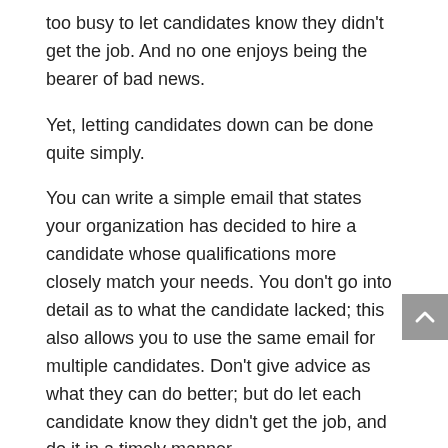too busy to let candidates know they didn't get the job. And no one enjoys being the bearer of bad news.
Yet, letting candidates down can be done quite simply.
You can write a simple email that states your organization has decided to hire a candidate whose qualifications more closely match your needs. You don't go into detail as to what the candidate lacked; this also allows you to use the same email for multiple candidates. Don't give advice as what they can do better; but do let each candidate know they didn't get the job, and do it in a timely manner.
Even classier: Have postcards printed that gently delivers the bad news. It's more personal than an email and, since space on a postcard is limited, the message won't and can't be too long. Extra points for you and your company if you address and sign them by hand.